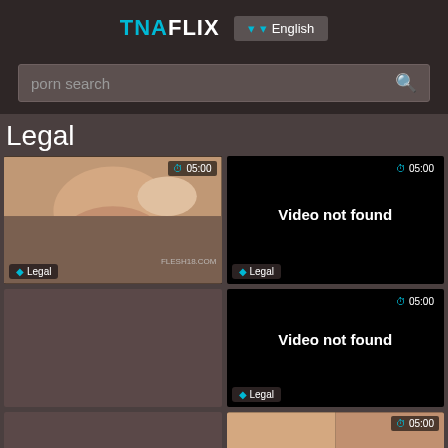TNAFLIX  English
porn search
Legal
[Figure (screenshot): Video thumbnail showing a person, with tag 'Legal' and duration '05:00', watermark FLESH18.COM]
[Figure (screenshot): Black video card with text 'Video not found', tag 'Legal', duration '05:00']
[Figure (screenshot): Black video card with text 'Video not found', tag 'Legal', duration '05:00']
[Figure (screenshot): Partial video thumbnail at bottom left]
[Figure (screenshot): Partial video thumbnail at bottom right with duration '05:00']